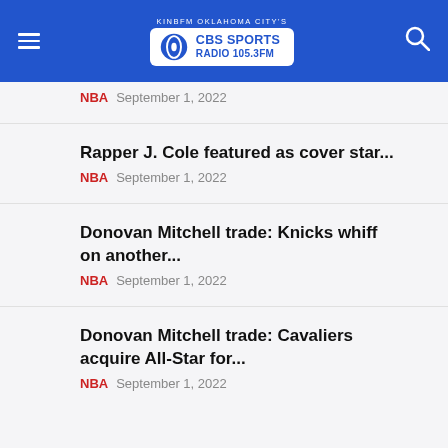KINBFM OKLAHOMA CITY'S CBS SPORTS RADIO 105.3FM
NBA  September 1, 2022
Rapper J. Cole featured as cover star...
NBA  September 1, 2022
Donovan Mitchell trade: Knicks whiff on another...
NBA  September 1, 2022
Donovan Mitchell trade: Cavaliers acquire All-Star for...
NBA  September 1, 2022